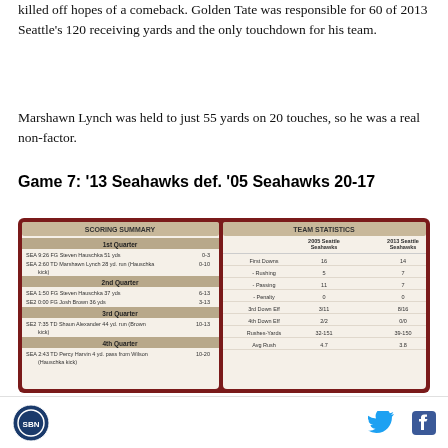killed off hopes of a comeback. Golden Tate was responsible for 60 of 2013 Seattle's 120 receiving yards and the only touchdown for his team.
Marshawn Lynch was held to just 55 yards on 20 touches, so he was a real non-factor.
Game 7: '13 Seahawks def. '05 Seahawks 20-17
[Figure (screenshot): Scoring summary and team statistics table for Game 7 between 2005 and 2013 Seattle Seahawks. Scoring summary shows 1st Quarter: SEA 9:26 FG Steven Hauschka 51 yds (0-3), SEA 2:60 TD Marshawn Lynch 28 yd. run (Hauschka kick) (0-10); 2nd Quarter: SEA 1:50 FG Steven Hauschka 37 yds (6-13), SE2 0:00 FG Josh Brown 36 yds (3-13); 3rd Quarter: SE2 7:35 TD Shaun Alexander 44 yd. run (Brown kick) (10-13); 4th Quarter: SEA 2:43 TD Percy Harvin 4 yd. pass from Wilson (Hauschka kick) (10-20). Team Statistics: First Downs 16 vs 14, Rushing 5 vs 7, Passing 11 vs 7, Penalty 0 vs 0, 3rd Down Eff 3/11 vs 8/16, 4th Down Eff 2/2 vs 0/0, Rushes-Yards 32-151 vs 39-150, Avg Rush 4.7 vs 3.8]